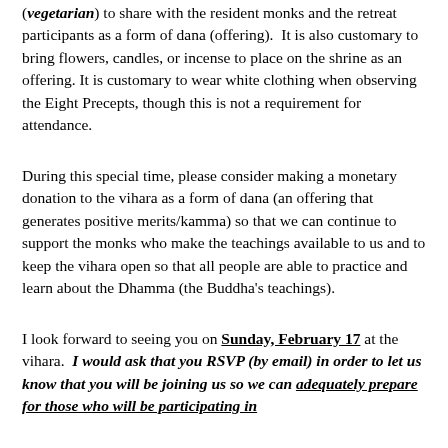(vegetarian) to share with the resident monks and the retreat participants as a form of dana (offering). It is also customary to bring flowers, candles, or incense to place on the shrine as an offering. It is customary to wear white clothing when observing the Eight Precepts, though this is not a requirement for attendance.
During this special time, please consider making a monetary donation to the vihara as a form of dana (an offering that generates positive merits/kamma) so that we can continue to support the monks who make the teachings available to us and to keep the vihara open so that all people are able to practice and learn about the Dhamma (the Buddha's teachings).
I look forward to seeing you on Sunday, February 17 at the vihara. I would ask that you RSVP (by email) in order to let us know that you will be joining us so we can adequately prepare for those who will be participating in